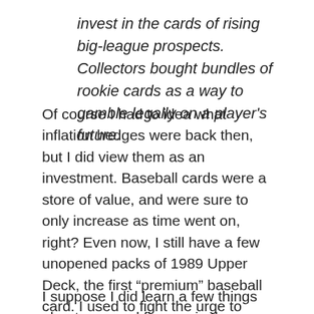invest in the cards of rising big-league prospects. Collectors bought bundles of rookie cards as a way to gamble legally on a player's future.
Of course I had to idea what inflation hedges were back then, but I did view them as an investment. Baseball cards were a store of value, and were sure to only increase as time went on, right? Even now, I still have a few unopened packs of 1989 Upper Deck, the first "premium" baseball card. I used to fight the urge to open them, balancing the curiosity of whether I had a Ken Griffey, Jr. rookie card, or whether it was better to keep it an unopened mystery.
I suppose I did learn a few things about personal finance in those days. But after reading all this, I